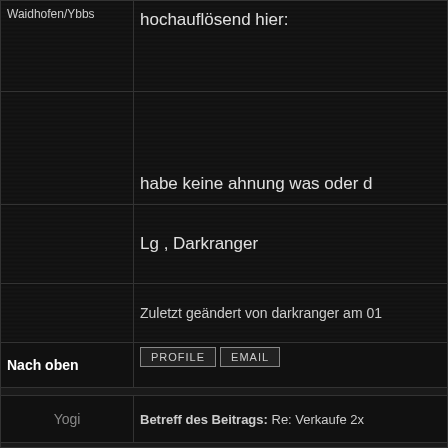Waidhofen/Ybbs
hochauflösend hier:
habe keine ahnung was oder d
Lg , Darkranger
Zuletzt geändert von darkranger am 01
Nach oben
PROFILE
EMAIL
Yogi
Betreff des Beitrags: Re: Verkaufe 2x
OFFLINE
Also ich habe die Bücher auch